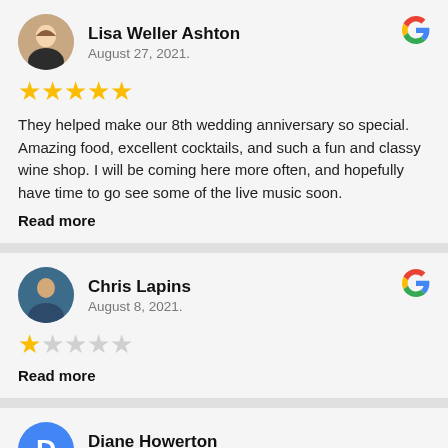Lisa Weller Ashton
August 27, 2021.
★★★★★ (5 stars)
They helped make our 8th wedding anniversary so special. Amazing food, excellent cocktails, and such a fun and classy wine shop. I will be coming here more often, and hopefully have time to go see some of the live music soon.
Read more
Chris Lapins
August 8, 2021.
★☆☆☆☆ (1 star)
Read more
Diane Howerton
August 1, 2021.